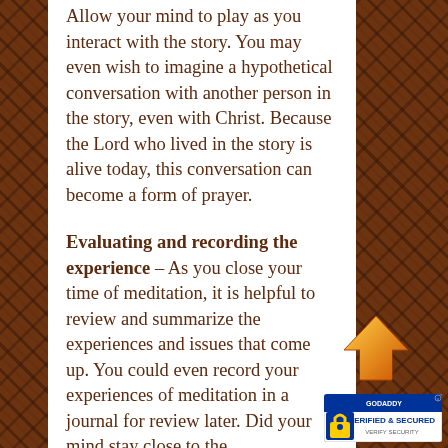Allow your mind to play as you interact with the story. You may even wish to imagine a hypothetical conversation with another person in the story, even with Christ. Because the Lord who lived in the story is alive today, this conversation can become a form of prayer.
Evaluating and recording the experience – As you close your time of meditation, it is helpful to review and summarize the experiences and issues that come up. You could even record your experiences of meditation in a journal for review later. Did your mind stay close to the
[Figure (illustration): Orange upward-pointing arrow icon]
[Figure (logo): GoDaddy Verified and Secured badge with padlock icon]